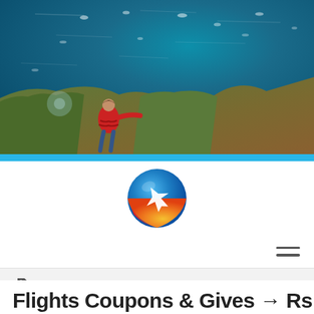[Figure (photo): Aerial view of a lake or ocean bay with boats on blue water, rocky shoreline with vegetation, person in red jacket sitting at the edge looking out over the water]
[Figure (logo): Travel booking website logo — a globe/sphere with blue upper half, red-orange lower half, and a white airplane silhouette in the center]
gives
Flights Coupons & Gives → Rs